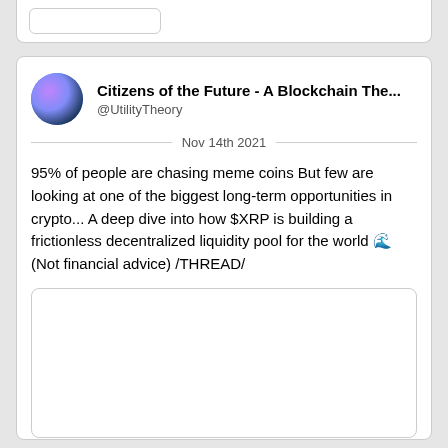Citizens of the Future - A Blockchain The...
@UtilityTheory
Nov 14th 2021
95% of people are chasing meme coins But few are looking at one of the biggest long-term opportunities in crypto... A deep dive into how $XRP is building a frictionless decentralized liquidity pool for the world 🌊 (Not financial advice) /THREAD/
[Figure (other): Embedded tweet image placeholder (blank white box)]
Read 33 tweets